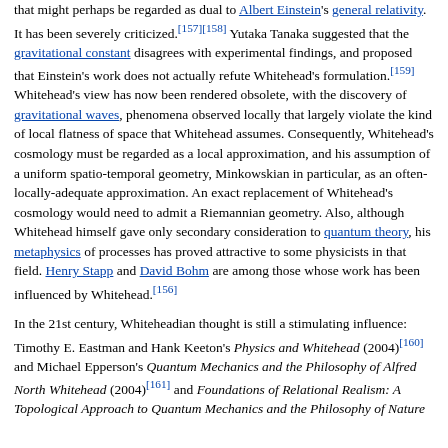that might perhaps be regarded as dual to Albert Einstein's general relativity. It has been severely criticized.[157][158] Yutaka Tanaka suggested that the gravitational constant disagrees with experimental findings, and proposed that Einstein's work does not actually refute Whitehead's formulation.[159] Whitehead's view has now been rendered obsolete, with the discovery of gravitational waves, phenomena observed locally that largely violate the kind of local flatness of space that Whitehead assumes. Consequently, Whitehead's cosmology must be regarded as a local approximation, and his assumption of a uniform spatio-temporal geometry, Minkowskian in particular, as an often-locally-adequate approximation. An exact replacement of Whitehead's cosmology would need to admit a Riemannian geometry. Also, although Whitehead himself gave only secondary consideration to quantum theory, his metaphysics of processes has proved attractive to some physicists in that field. Henry Stapp and David Bohm are among those whose work has been influenced by Whitehead.[156]
In the 21st century, Whiteheadian thought is still a stimulating influence: Timothy E. Eastman and Hank Keeton's Physics and Whitehead (2004)[160] and Michael Epperson's Quantum Mechanics and the Philosophy of Alfred North Whitehead (2004)[161] and Foundations of Relational Realism: A Topological Approach to Quantum Mechanics and the Philosophy of Nature